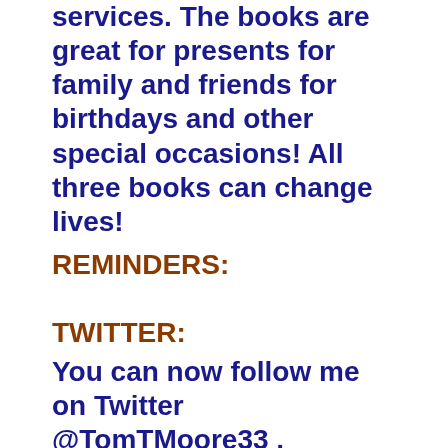services.  The books are great for presents for family and friends for birthdays and other special occasions!  All three books can change lives!
REMINDERS:
TWITTER:
You can now follow me on Twitter @TomTMoore33 .